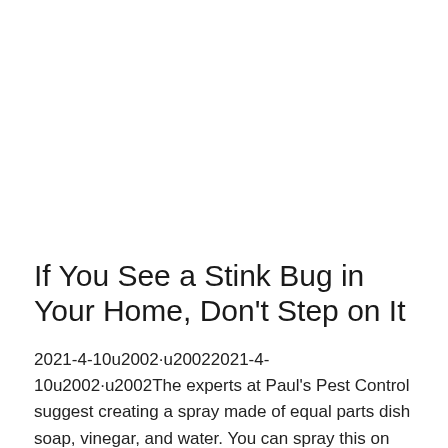If You See a Stink Bug in Your Home, Don't Step on It
2021-4-10u2002·u20022021-4-10u2002·u2002The experts at Paul's Pest Control suggest creating a spray made of equal parts dish soap, vinegar, and water. You can spray this on stink bugs to kill them without startling them first,